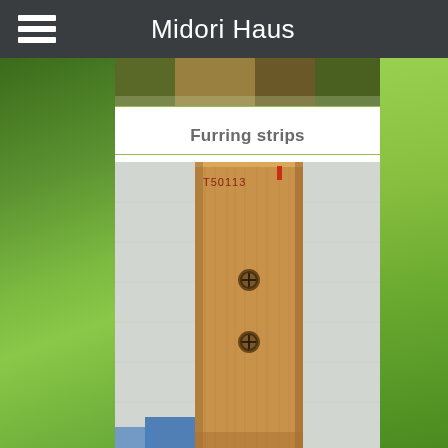Midori Haus
[Figure (photo): Top partial photo strip showing outdoor scene]
Furring strips
[Figure (photo): A wooden furring strip with two visible screws/fasteners, stamped with T50113, lying on a white fabric background with blue object partially visible at bottom]